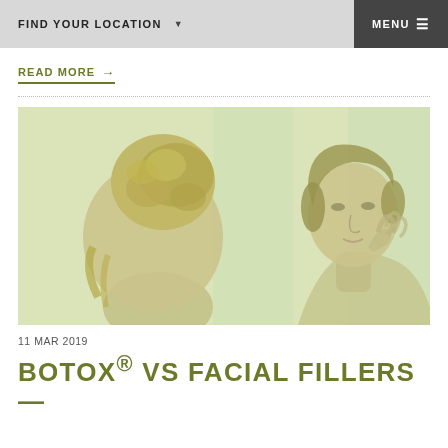FIND YOUR LOCATION   ▼   MENU ≡
READ MORE →
[Figure (photo): Woman with hair in updo seen from behind looking at her reflection in a mirror; her reflection shows her touching her face/chin with hand. Image has a green-tinted overlay.]
11 MAR 2019
BOTOX® VS FACIAL FILLERS —